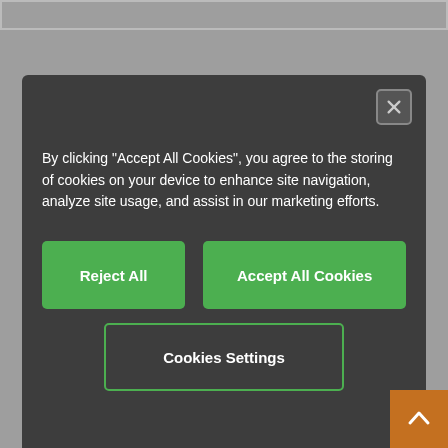[Figure (screenshot): Cookie consent modal dialog with dark background containing text about cookies and three green buttons: Reject All, Accept All Cookies, Cookies Settings. A close button (X) in top-right corner.]
By clicking "Accept All Cookies", you agree to the storing of cookies on your device to enhance site navigation, analyze site usage, and assist in our marketing efforts.
For heaviest duty applications and especially small radii up to 4 x d
Outer jacket: TPE
Overall shield
Coolant resistant
Low-temperature-flexible